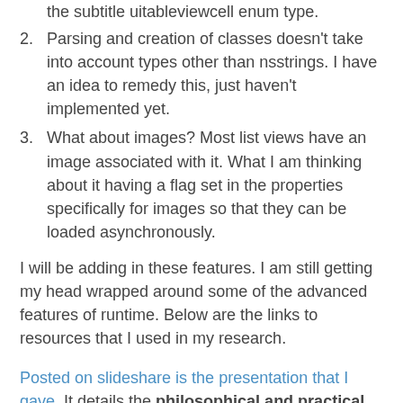the subtitle uitableviewcell enum type.
Parsing and creation of classes doesn't take into account types other than nsstrings. I have an idea to remedy this, just haven't implemented yet.
What about images?  Most list views have an image associated with it.  What I am thinking about it having a flag set in the properties specifically for images so that they can be loaded asynchronously.
I will be adding in these features.  I am still getting my head wrapped around some of the advanced features of runtime. Below are the links to resources that I used in my research.
Posted on slideshare is the presentation that I gave. It details the philosophical and practical importance of having an SOA that is similar to what I described.  It was